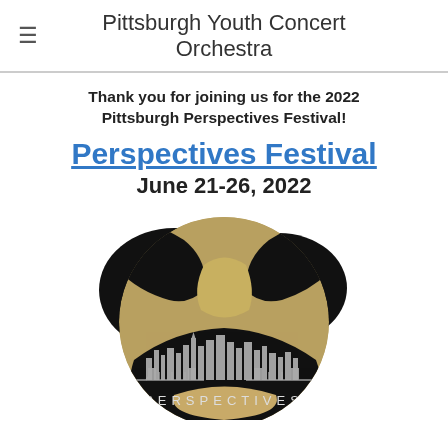Pittsburgh Youth Concert Orchestra
Thank you for joining us for the 2022 Pittsburgh Perspectives Festival!
Perspectives Festival
June 21-26, 2022
[Figure (logo): Circular logo for the Perspectives Festival showing a violin silhouette, Pittsburgh city skyline in gray, two bridge silhouettes, and the word PERSPECTIVES in spaced letters. Gold and black color scheme.]